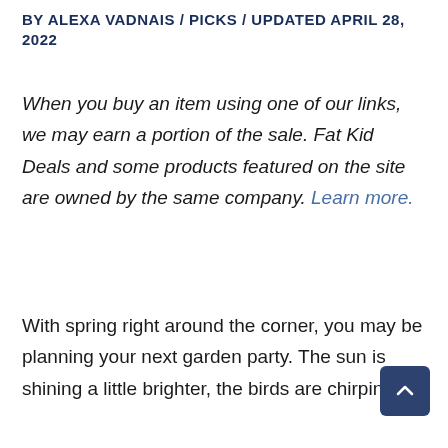BY ALEXA VADNAIS / PICKS / UPDATED APRIL 28, 2022
When you buy an item using one of our links, we may earn a portion of the sale. Fat Kid Deals and some products featured on the site are owned by the same company. Learn more.
With spring right around the corner, you may be planning your next garden party. The sun is shining a little brighter, the birds are chirping a